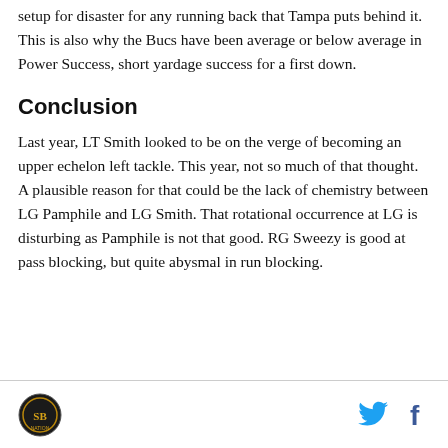setup for disaster for any running back that Tampa puts behind it. This is also why the Bucs have been average or below average in Power Success, short yardage success for a first down.
Conclusion
Last year, LT Smith looked to be on the verge of becoming an upper echelon left tackle. This year, not so much of that thought. A plausible reason for that could be the lack of chemistry between LG Pamphile and LG Smith. That rotational occurrence at LG is disturbing as Pamphile is not that good. RG Sweezy is good at pass blocking, but quite abysmal in run blocking.
Footer with site logo and social media icons (Twitter, Facebook)